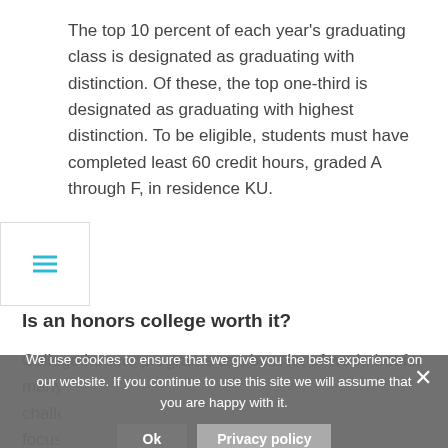The top 10 percent of each year's graduating class is designated as graduating with distinction. Of these, the top one-third is designated as graduating with highest distinction. To be eligible, students must have completed least 60 credit hours, graded A through F, in residence KU.
[Figure (infographic): Online Divorcer advertisement banner: 'DIVORCE MADE SIMPLE' with GET STARTED button and feature list: COURT-APPROVED FORMS, $139 FOR ALL DOCUMENTS, FILING INSTRUCTIONS, 24/7 CUSTOMER SUPPORT]
Is an honors college worth it?
College honors programs can be a lot of work, but for many students, they're worth the effort and academic challenge. Although honors programs are more focused on academics, they also offer exceptional extracurricular
We use cookies to ensure that we give you the best experience on our website. If you continue to use this site we will assume that you are happy with it.